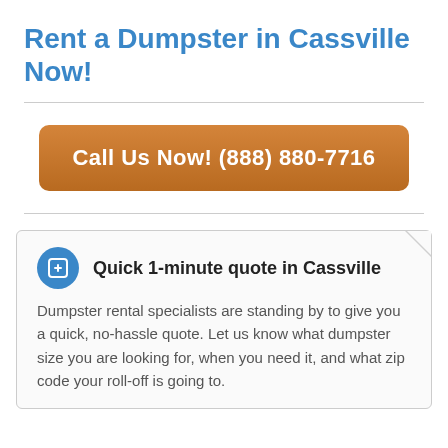Rent a Dumpster in Cassville Now!
Call Us Now! (888) 880-7716
Quick 1-minute quote in Cassville
Dumpster rental specialists are standing by to give you a quick, no-hassle quote. Let us know what dumpster size you are looking for, when you need it, and what zip code your roll-off is going to.